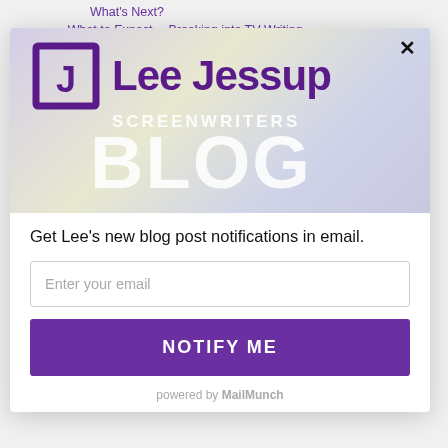What's Next?
What to Expect… Breaking into TV Writing
[Figure (logo): Lee Jessup Screenwriters Blog logo banner — purple bracket-J icon with 'Lee Jessup' in dark purple and 'SCREENWRITERS BLOG' in white on a light purple/green gradient background]
Get Lee's new blog post notifications in email.
Enter your email
NOTIFY ME
powered by MailMunch